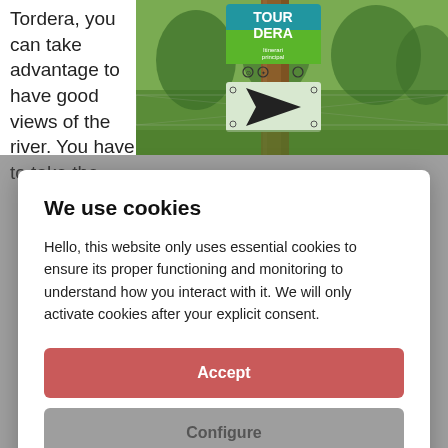Tordera, you can take advantage to have good views of the river. You have to take the
[Figure (photo): Photo of a wooden signpost with Tour Dera trail markers and a directional arrow sign, with green trees and chain-link fence in background]
We use cookies
Hello, this website only uses essential cookies to ensure its proper functioning and monitoring to understand how you interact with it. We will only activate cookies after your explicit consent.
Accept
Configure